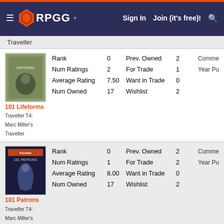RPGG — Sign In   Join (it's free)!
Traveller
| Item | Rank | Prev. Owned | Comme... | Num Ratings | For Trade | Year Pu... | Average Rating | Want in Trade | Num Owned | Wishlist |
| --- | --- | --- | --- | --- | --- | --- | --- | --- | --- | --- |
| 101 Lifeforms / Traveller T4: Marc Miller's Traveller | 0 | 2 |  | 2 | 1 |  | 7.50 | 0 | 17 | 2 |
| 101 Patrons / Traveller T4: Marc Miller's Traveller | 0 | 2 |  | 1 | 2 |  | 8.00 | 0 | 17 | 2 |
| 101 Religions | 0 | 3 |  | 3 | 0 |  | 8.67 | 0 | 18 | 3 |